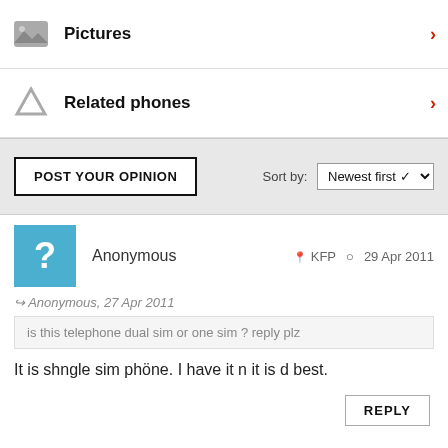Pictures
Related phones
POST YOUR OPINION | Sort by: Newest first
Anonymous  KFP  29 Apr 2011
Anonymous, 27 Apr 2011
is this telephone dual sim or one sim ? reply plz
It is shngle sim phöne. I have it n it is d best.
REPLY